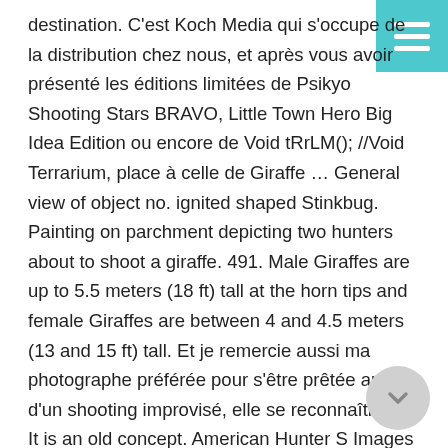destination. C'est Koch Media qui s'occupe de la distribution chez nous, et après vous avoir présenté les éditions limitées de Psikyo Shooting Stars BRAVO, Little Town Hero Big Idea Edition ou encore de Void tRrLM(); //Void Terrarium, place à celle de Giraffe … General view of object no. ignited shaped Stinkbug. Painting on parchment depicting two hunters about to shoot a giraffe. 491. Male Giraffes are up to 5.5 meters (18 ft) tall at the horn tips and female Giraffes are between 4 and 4.5 meters (13 and 15 ft) tall. Et je remercie aussi ma photographe préférée pour s'être prêtée au jeu d'un shooting improvisé, elle se reconnaîtra <3. It is an old concept. American Hunter S Images Of Her Black Giraffe … Vous [...] 31 Mai. Koure Giraffe Reserve is included in the